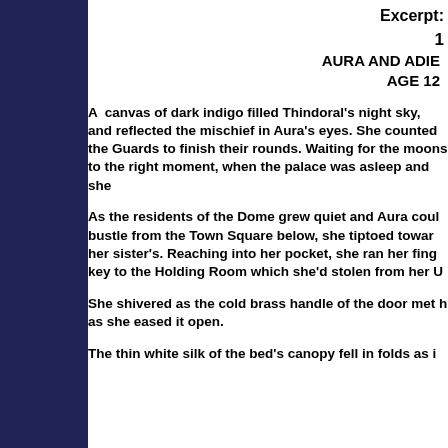Excerpt:
1
AURA AND ADIE
AGE 12
A  canvas of dark indigo filled Thindoral's night sky, and reflected the mischief in Aura's eyes. She counted the Guards to finish their rounds. Waiting for the moons to the right moment, when the palace was asleep and she
As the residents of the Dome grew quiet and Aura coul bustle from the Town Square below, she tiptoed towar her sister's. Reaching into her pocket, she ran her fing key to the Holding Room which she'd stolen from her U
She shivered as the cold brass handle of the door met h as she eased it open.
The thin white silk of the bed's canopy fell in folds as i